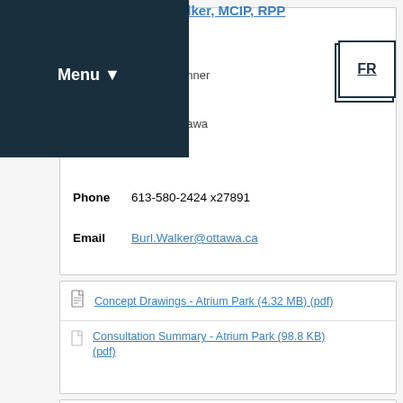Menu
Walker, MCIP, RPP
Planner
Ottawa
Phone  613-580-2424 x27891
Email  Burl.Walker@ottawa.ca
Concept Drawings - Atrium Park (4.32 MB) (pdf)
Consultation Summary - Atrium Park (98.8 KB) (pdf)
Location Map
To view the park location, click on the geoOttawa map below and search for 886 Atrium Ridge.
[Figure (map): Street map showing park location near 886 Atrium Ridge, Ottawa]